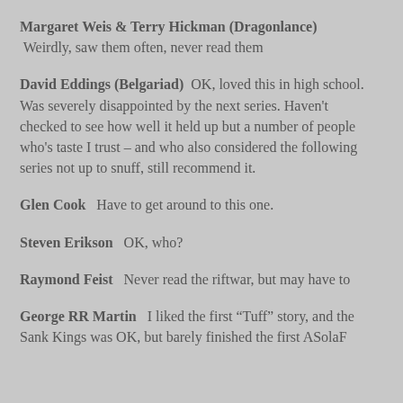Margaret Weis & Terry Hickman (Dragonlance) Weirdly, saw them often, never read them
David Eddings (Belgariad) OK, loved this in high school. Was severely disappointed by the next series. Haven't checked to see how well it held up but a number of people who's taste I trust – and who also considered the following series not up to snuff, still recommend it.
Glen Cook Have to get around to this one.
Steven Erikson OK, who?
Raymond Feist Never read the riftwar, but may have to
George RR Martin I liked the first "Tuff" story, and the Sank Kings was OK, but barely finished the first ASolaF